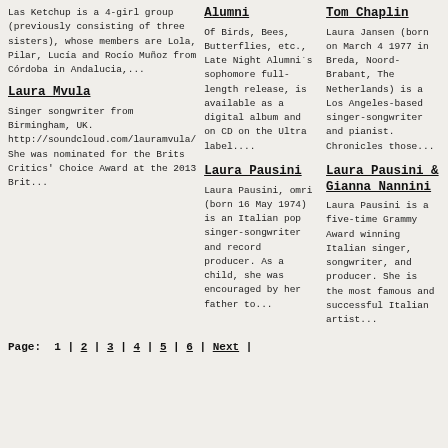Las Ketchup is a 4-girl group (previously consisting of three sisters), whose members are Lola, Pilar, Lucía and Rocío Muñoz from Córdoba in Andalucia,...
Alumni
Of Birds, Bees, Butterflies, etc., Late Night Alumni´s sophomore full-length release, is available as a digital album and on CD on the Ultra label....
Tom Chaplin
Laura Jansen (born on March 4 1977 in Breda, Noord-Brabant, The Netherlands) is a Los Angeles-based singer-songwriter and pianist. Chronicles those...
Laura Mvula
Singer songwriter from Birmingham, UK. http://soundcloud.com/lauramvula/ She was nominated for the Brits Critics' Choice Award at the 2013 Brit...
Laura Pausini
Laura Pausini, omri (born 16 May 1974) is an Italian pop singer-songwriter and record producer. As a child, she was encouraged by her father to...
Laura Pausini & Gianna Nannini
Laura Pausini is a five-time Grammy Award winning Italian singer, songwriter, and producer. She is the most famous and successful Italian artist...
Page: 1 | 2 | 3 | 4 | 5 | 6 | Next |